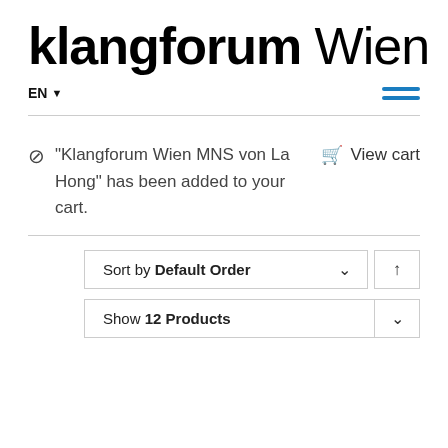klangforum Wien
EN ▼
☰ (hamburger menu icon)
⊙ "Klangforum Wien MNS von La Hong" has been added to your cart.
🛒 View cart
Sort by Default Order ∨ ↑
Show 12 Products ∨